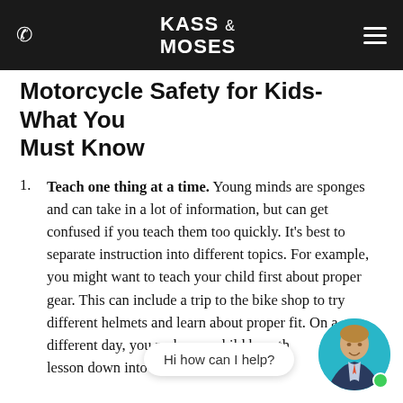KASS & MOSES
Motorcycle Safety for Kids- What You Must Know
Teach one thing at a time. Young minds are sponges and can take in a lot of information, but can get confused if you teach them too quickly. It's best to separate instruction into different topics. For example, you might want to teach your child first about proper gear. This can include a trip to the bike shop to try different helmets and learn about proper fit. On a different day, you might teach your child how th... ki... lesson down into manageable chunks.